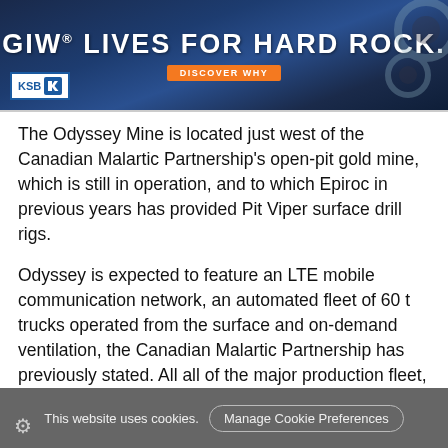[Figure (illustration): GIW banner advertisement with dark blue background. Large white text reads 'GIW® LIVES FOR HARD ROCK.' with an orange 'DISCOVER WHY' button. KSB logo in bottom-left corner.]
The Odyssey Mine is located just west of the Canadian Malartic Partnership's open-pit gold mine, which is still in operation, and to which Epiroc in previous years has provided Pit Viper surface drill rigs.
Odyssey is expected to feature an LTE mobile communication network, an automated fleet of 60 t trucks operated from the surface and on-demand ventilation, the Canadian Malartic Partnership has previously stated. All all of the major production fleet, including trucks, drills and LHDs, are also expected to be battery electric.
The Odyssey Mine will be accessed by a ramp and a shaft estimated to be 1,800 m deep. Plans are to extract 19,000
This website uses cookies.  Manage Cookie Preferences